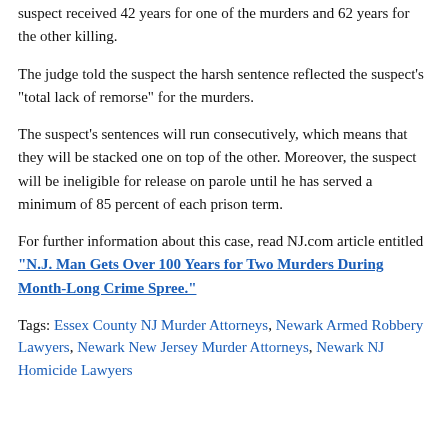suspect received 42 years for one of the murders and 62 years for the other killing.
The judge told the suspect the harsh sentence reflected the suspect's "total lack of remorse" for the murders.
The suspect's sentences will run consecutively, which means that they will be stacked one on top of the other. Moreover, the suspect will be ineligible for release on parole until he has served a minimum of 85 percent of each prison term.
For further information about this case, read NJ.com article entitled "N.J. Man Gets Over 100 Years for Two Murders During Month-Long Crime Spree."
Tags: Essex County NJ Murder Attorneys, Newark Armed Robbery Lawyers, Newark New Jersey Murder Attorneys, Newark NJ Homicide Lawyers